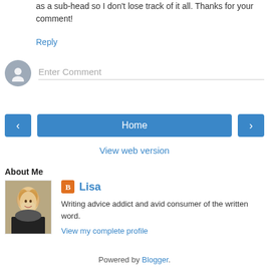as a sub-head so I don't lose track of it all. Thanks for your comment!
Reply
[Figure (other): Comment input area with user avatar circle and Enter Comment placeholder text]
[Figure (other): Navigation buttons: left arrow, Home, right arrow]
View web version
About Me
[Figure (photo): Profile photo of Lisa, a woman with curly blonde hair smiling]
Lisa
Writing advice addict and avid consumer of the written word.
View my complete profile
Powered by Blogger.